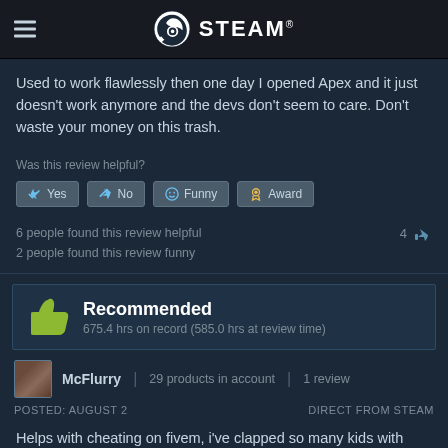STEAM
Used to work flawlessly then one day I opened Apex and it just doesn't work anymore and the devs don't seem to care. Don't waste your money on this trash.
Was this review helpful?
6 people found this review helpful
2 people found this review funny
Recommended
675.4 hrs on record (585.0 hrs at review time)
McFlurry | 29 products in account | 1 review
POSTED: AUGUST 2
DIRECT FROM STEAM
Helps with cheating on fivem, i've clapped so many kids with